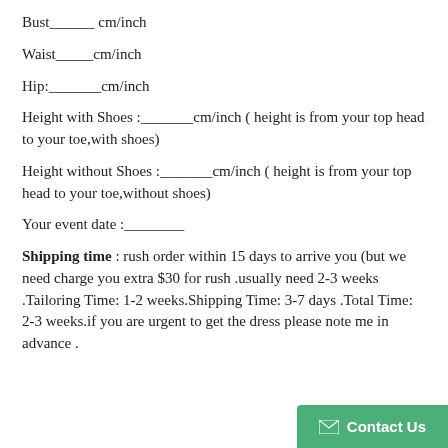Bust______ cm/inch
Waist_____cm/inch
Hip:_______cm/inch
Height with Shoes :_______cm/inch ( height is from your top head to your toe,with shoes)
Height without Shoes :_______cm/inch ( height is from your top head to your toe,without shoes)
Your event date :________
Shipping time : rush order within 15 days to arrive you (but we need charge you extra $30 for rush .usually need 2-3 weeks .Tailoring Time: 1-2 weeks.Shipping Time: 3-7 days .Total Time: 2-3 weeks.if you are urgent to get the dress please note me in advance .